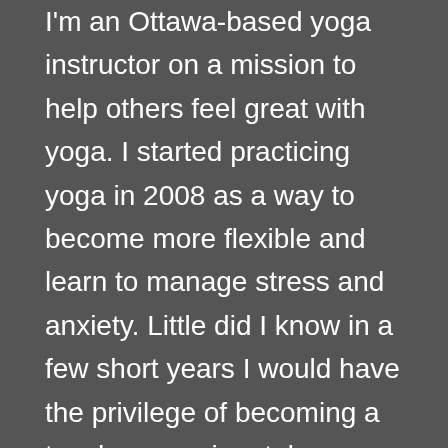I'm an Ottawa-based yoga instructor on a mission to help others feel great with yoga. I started practicing yoga in 2008 as a way to become more flexible and learn to manage stress and anxiety. Little did I know in a few short years I would have the privilege of becoming a teacher, passionately committed to sharing yoga with others who, like me, were sick of feeling less than vibrant.
LIKE US ON FACEBOOK